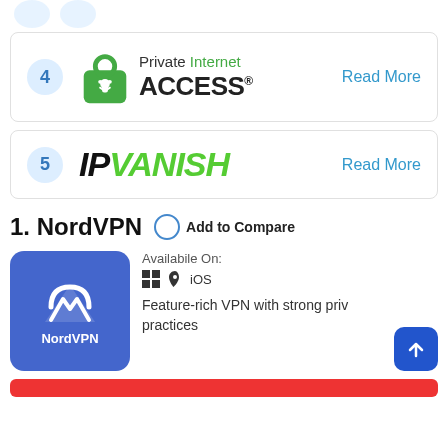[Figure (logo): Partial top card with circular badge icons (cropped)]
4. Private Internet ACCESS - Read More
5. IPVANISH - Read More
1. NordVPN
Add to Compare
[Figure (logo): NordVPN app icon - blue square with white mountain/shield logo]
Availabile On:
Windows, Apple, iOS
Feature-rich VPN with strong privacy practices